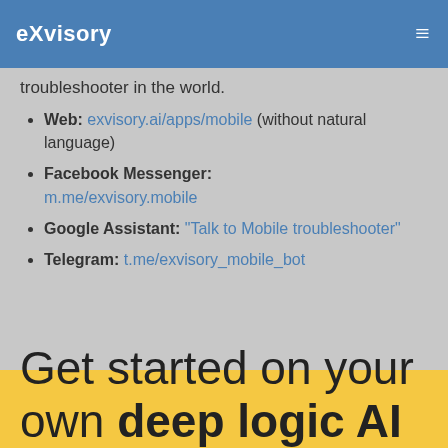eXvisory
troubleshooter in the world.
Web: exvisory.ai/apps/mobile (without natural language)
Facebook Messenger: m.me/exvisory.mobile
Google Assistant: "Talk to Mobile troubleshooter"
Telegram: t.me/exvisory_mobile_bot
Get started on your own deep logic AI